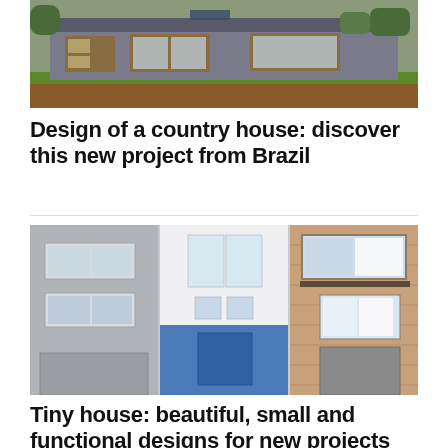[Figure (photo): Exterior photo of a modern single-story country house in Brazil with gray walls, wooden window frames, and green grass landscaping]
Design of a country house: discover this new project from Brazil
[Figure (photo): Photo of three narrow European townhouse facades side by side — left: gray tiled, center: white and blue tiled, right: brick — typical Belgian or Dutch architecture]
Tiny house: beautiful, small and functional designs for new projects